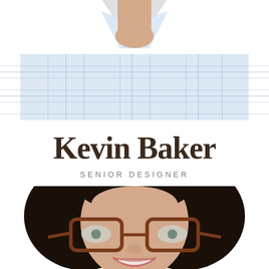[Figure (photo): Top half of a man wearing a blue plaid shirt, cropped to show torso and chin area against white background.]
Kevin Baker
SENIOR DESIGNER
[Figure (photo): Headshot of a woman with dark long hair and tortoise-shell glasses, smiling, against white background.]